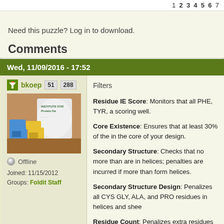1  2  3  4  5  6  7
Need this puzzle? Log in to download.
Comments
Wed, 11/09/2016 - 17:52
bkoep  51  288
Offline
Joined: 11/15/2012
Groups: Foldit Staff
Filters

Residue IE Score: Monitors that all PHE, TYR, a scoring well.

Core Existence: Ensures that at least 30% of the in the core of your design.

Secondary Structure: Checks that no more than are in helices; penalties are incurred if more than form helices.

Secondary Structure Design: Penalizes all CYS GLY, ALA, and PRO residues in helices and shee

Residue Count: Penalizes extra residues inserte residue limit. Players may insert up to 25 extra re

Ideal Loops: Penalizes loops that do not conform ABEGO patterns. Use Auto Structures to see whi "loops."